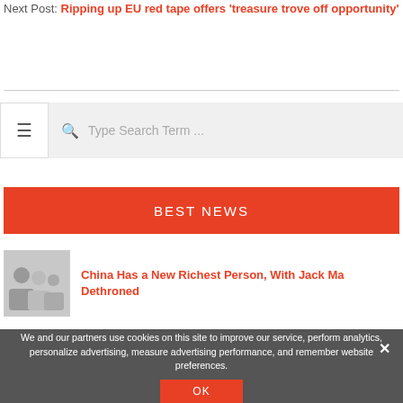Next Post: Ripping up EU red tape offers 'treasure trove off opportunity'
[Figure (screenshot): Search bar with hamburger menu icon on left and search input field with placeholder text 'Type Search Term ...']
BEST NEWS
[Figure (photo): Thumbnail image of people, associated with news article about China's richest person]
China Has a New Richest Person, With Jack Ma Dethroned
We and our partners use cookies on this site to improve our service, perform analytics, personalize advertising, measure advertising performance, and remember website preferences.
OK